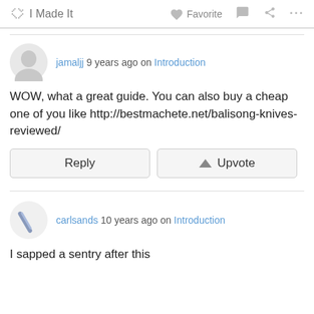🖐 I Made It   ♡ Favorite   💬   ⋮
jamaljj 9 years ago on Introduction
WOW, what a great guide. You can also buy a cheap one of you like http://bestmachete.net/balisong-knives-reviewed/
carlsands 10 years ago on Introduction
I sapped a sentry after this